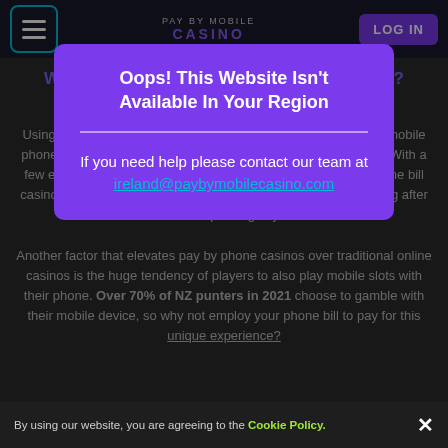PAY BY MOBILE CASINO — LOG IN
Why are Pay by Phone Casinos so Popular?
Using other mobile payment methods, using other pay by mobile casino sites, how your mobile phone, can allow you to access your favourite casino games and slots machines. With a few easy steps of opening an account, choosing the pay by phone bill casino option, and following our instructions, you can start playing after a few minutes of depositing in your account.
Another factor that elevates pay by phone casinos over traditional online casinos is the huge tendency of players to also play mobile slots with their phone. Over 70% of NZ punters in 2021 choose to gamble with their mobile device, so why not employ your phone bill to pay for this unique experience?
[Figure (screenshot): Purple modal dialog over darkened website background. Title reads 'Oops! This Website Isn't Available In Your Region' with a horizontal divider and body text 'If you need help please contact our team at ireland@paybymobilecasino.com']
By using our website, you are agreeing to the Cookie Policy. ✕